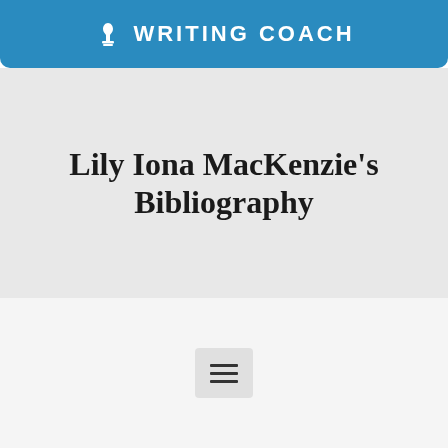WRITING COACH
Lily Iona MacKenzie's Bibliography
[Figure (other): Hamburger menu icon button with three horizontal lines]
COPYRIGHT © 2021 LILYIONAMACKENZIE.COM. ALL RIGHTS RESERVED.